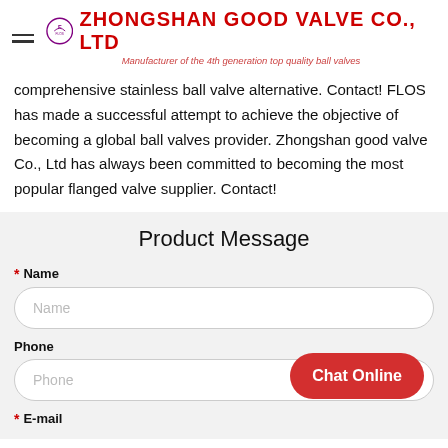ZHONGSHAN GOOD VALVE CO., LTD — Manufacturer of the 4th generation top quality ball valves
comprehensive stainless ball valve alternative. Contact! FLOS has made a successful attempt to achieve the objective of becoming a global ball valves provider. Zhongshan good valve Co., Ltd has always been committed to becoming the most popular flanged valve supplier. Contact!
Product Message
* Name
Phone
* E-mail